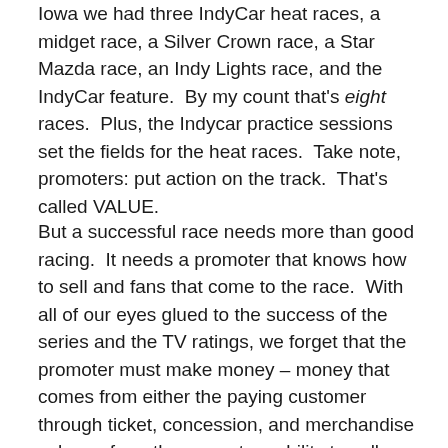Iowa we had three IndyCar heat races, a midget race, a Silver Crown race, a Star Mazda race, an Indy Lights race, and the IndyCar feature.  By my count that's eight races.  Plus, the Indycar practice sessions set the fields for the heat races.  Take note, promoters: put action on the track.  That's called VALUE.
But a successful race needs more than good racing.  It needs a promoter that knows how to sell and fans that come to the race.  With all of our eyes glued to the success of the series and the TV ratings, we forget that the promoter must make money – money that comes from either the paying customer through ticket, concession, and merchandise sales or from the promoters ability to sell sponsorships and partnerships with businesses.  Oval track promoters should take note of how Iowa Speedway does business.